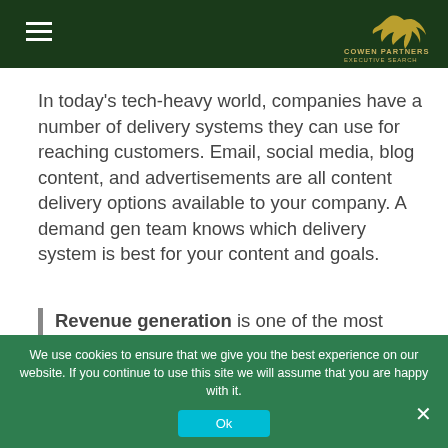Cowen Partners Executive Search (header with hamburger menu and logo/bird)
In today's tech-heavy world, companies have a number of delivery systems they can use for reaching customers. Email, social media, blog content, and advertisements are all content delivery options available to your company. A demand gen team knows which delivery system is best for your content and goals.
Revenue generation is one of the most
We use cookies to ensure that we give you the best experience on our website. If you continue to use this site we will assume that you are happy with it. Ok